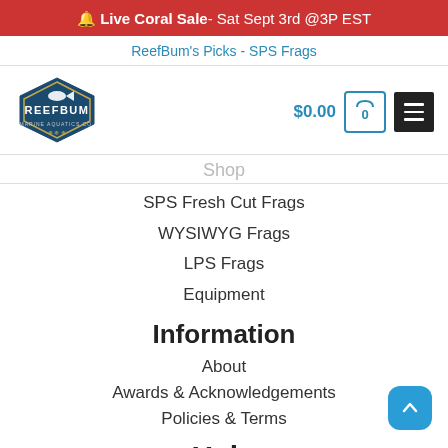🔔 Live Coral Sale - Sat Sept 3rd @3P EST
ReefBum's Picks - SPS Frags
[Figure (logo): ReefBum Marine Aquatics Co. logo - dark blue hexagon badge with fish icon and REEFBUM text]
$0.00 [cart] 0 [menu]
Shop
SPS Fresh Cut Frags
WYSIWYG Frags
LPS Frags
Equipment
Information
About
Awards & Acknowledgements
Policies & Terms
Help